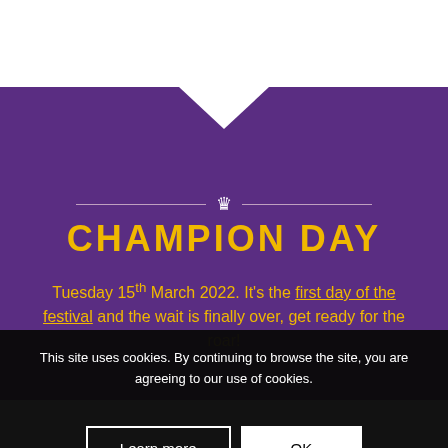CHAMPION DAY
Tuesday 15th March 2022. It's the first day of the festival and the wait is finally over, get ready for the roar!
This site uses cookies. By continuing to browse the site, you are agreeing to our use of cookies.
Learn more
OK